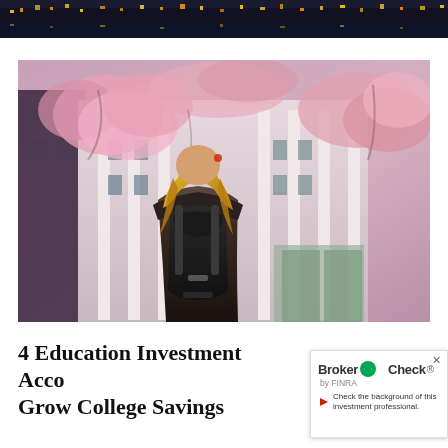[Figure (photo): Nighttime cityscape with reflections on water, used as website header banner]
[Figure (photo): Young woman with blonde hair and black backpack viewed from behind, standing in front of a building with pink blossoming trees]
4 Education Investment Accounts to Grow College Savings
[Figure (logo): BrokerCheck by FINRA badge with text: Check the background of this investment professional.]